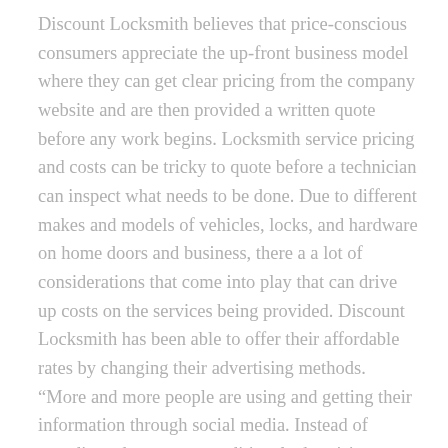Discount Locksmith believes that price-conscious consumers appreciate the up-front business model where they can get clear pricing from the company website and are then provided a written quote before any work begins. Locksmith service pricing and costs can be tricky to quote before a technician can inspect what needs to be done. Due to different makes and models of vehicles, locks, and hardware on home doors and business, there a a lot of considerations that come into play that can drive up costs on the services being provided. Discount Locksmith has been able to offer their affordable rates by changing their advertising methods. “More and more people are using and getting their information through social media. Instead of spending ad money on traditional advertising, we offer customers huge discounts and only ask that they share their experience on their social media pages.” says Jerry. “We’ve found that customer satisfaction has increased. Most are happy that a minute of their time can save them a lot of money, sometimes hundreds of dollars. They can still get the same